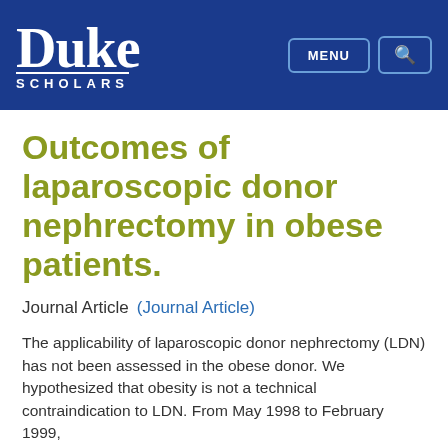Duke SCHOLARS
Outcomes of laparoscopic donor nephrectomy in obese patients.
Journal Article    (Journal Article)
The applicability of laparoscopic donor nephrectomy (LDN) has not been assessed in the obese donor. We hypothesized that obesity is not a technical contraindication to LDN. From May 1998 to February 1999,